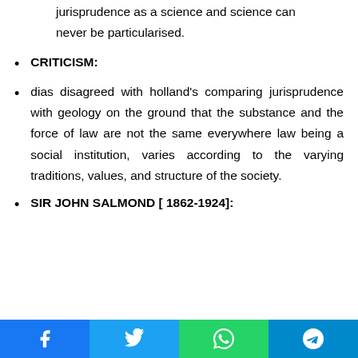jurisprudence as a science and science can never be particularised.
CRITICISM:
dias disagreed with holland’s comparing jurisprudence with geology on the ground that the substance and the force of law are not the same everywhere law being a social institution, varies according to the varying traditions, values, and structure of the society.
SIR JOHN SALMOND [ 1862-1924]: